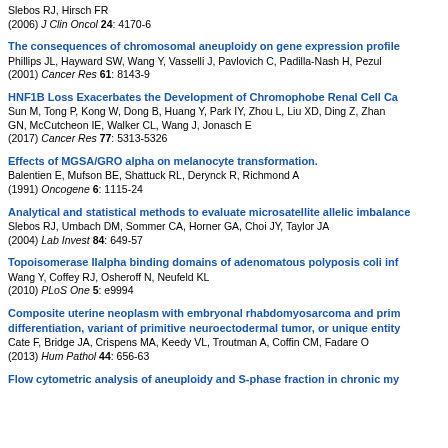Slebos RJ, Hirsch FR
(2006) J Clin Oncol 24: 4170-6
The consequences of chromosomal aneuploidy on gene expression profiles in cancer
Phillips JL, Hayward SW, Wang Y, Vasselli J, Pavlovich C, Padilla-Nash H, Pezul...
(2001) Cancer Res 61: 8143-9
HNF1B Loss Exacerbates the Development of Chromophobe Renal Cell Ca...
Sun M, Tong P, Kong W, Dong B, Huang Y, Park IY, Zhou L, Liu XD, Ding Z, Zhan... GN, McCutcheon IE, Walker CL, Wang J, Jonasch E
(2017) Cancer Res 77: 5313-5326
Effects of MGSA/GRO alpha on melanocyte transformation.
Balentien E, Mufson BE, Shattuck RL, Derynck R, Richmond A
(1991) Oncogene 6: 1115-24
Analytical and statistical methods to evaluate microsatellite allelic imbalance...
Slebos RJ, Umbach DM, Sommer CA, Horner GA, Choi JY, Taylor JA
(2004) Lab Invest 84: 649-57
Topoisomerase IIalpha binding domains of adenomatous polyposis coli inf...
Wang Y, Coffey RJ, Osheroff N, Neufeld KL
(2010) PLoS One 5: e9994
Composite uterine neoplasm with embryonal rhabdomyosarcoma and prim... differentiation, variant of primitive neuroectodermal tumor, or unique entity...
Cate F, Bridge JA, Crispens MA, Keedy VL, Troutman A, Coffin CM, Fadare O
(2013) Hum Pathol 44: 656-63
Flow cytometric analysis of aneuploidy and S-phase fraction in chronic my...